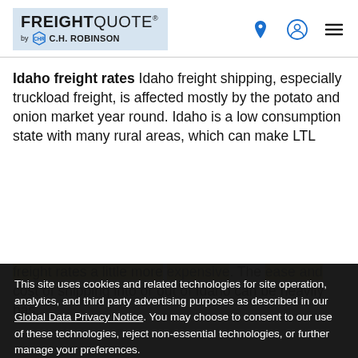FREIGHTQUOTE by C.H. ROBINSON
Idaho freight rates Idaho freight shipping, especially truckload freight, is affected mostly by the potato and onion market year round. Idaho is a low consumption state with many rural areas, which can make LTL freight rates a little more expensive. The ease and cost of shipping into or out of Idaho can be heavily bas...
This site uses cookies and related technologies for site operation, analytics, and third party advertising purposes as described in our Global Data Privacy Notice. You may choose to consent to our use of these technologies, reject non-essential technologies, or further manage your preferences.